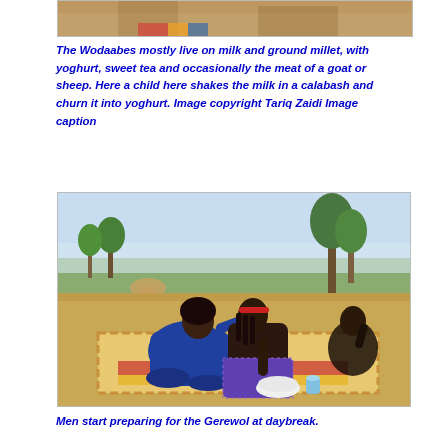[Figure (photo): Top portion of a photo showing a child shaking milk in a calabash, partially cropped at top of page]
The Wodaabes mostly live on milk and ground millet, with yoghurt, sweet tea and occasionally the meat of a goat or sheep. Here a child here shakes the milk in a calabash and churn it into yoghurt. Image copyright Tariq Zaidi Image caption
[Figure (photo): Outdoor scene showing African women sitting on a mat on dry ground with sparse trees behind them. One woman in a blue garment is sitting cross-legged while another woman with a red headband leans over her. A third person sits in the background.]
Men start preparing for the Gerewol at daybreak.